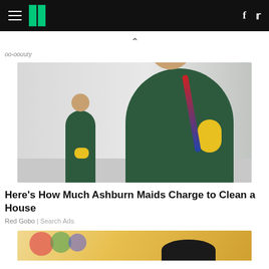HuffPost navigation with hamburger menu, logo, Facebook and Twitter icons
oo-oouury
[Figure (photo): Woman in dark green scrubs smiling and holding a red and blue mop handle with a yellow rubber glove. Another cleaning worker in green uniform visible in background hallway.]
Here's How Much Ashburn Maids Charge to Clean a House
Red Gobo | Search Ads
[Figure (photo): Partial view of a second advertisement image showing a blurred colorful background with dark hair visible at bottom.]